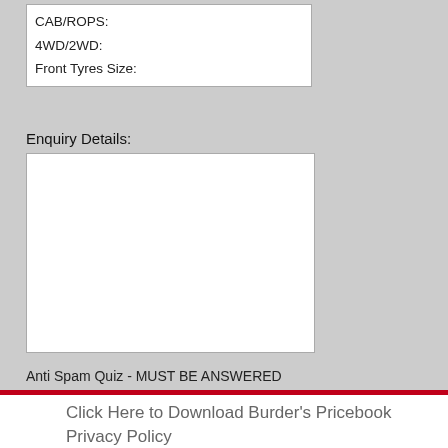CAB/ROPS:
4WD/2WD:
Front Tyres Size:
Enquiry Details:
Anti Spam Quiz - MUST BE ANSWERED
Which is smaller, rat or elephant?
Send
Click Here to Download Burder's Pricebook
Privacy Policy